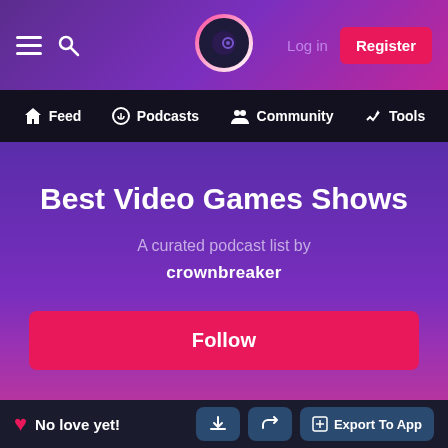Log in | Register
Feed | Podcasts | Community | Tools
Best Video Games Shows
A curated podcast list by
crownbreaker
Follow
No love yet!
Export To App